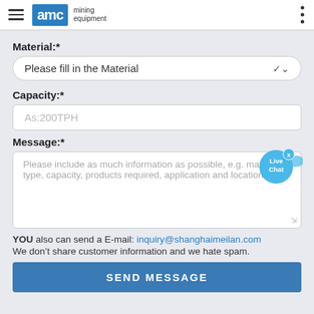AMC mining equipment
Material:*
Please fill in the Material
Capacity:*
As:200TPH
[Figure (infographic): Live Chat bubble icon with fish tail and close X button]
Message:*
Please include as much information as possible, e.g. material type, capacity, products required, application and location.
YOU also can send a E-mail: inquiry@shanghaimeilan.com
We don’t share customer information and we hate spam.
SEND MESSAGE